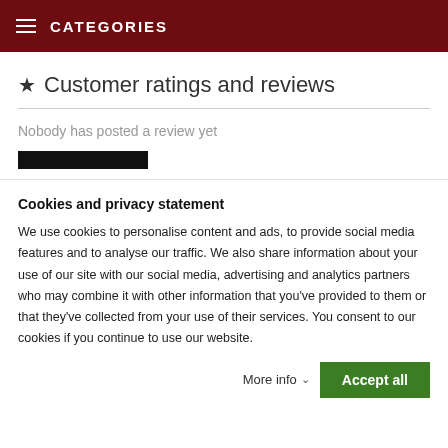CATEGORIES
★ Customer ratings and reviews
Nobody has posted a review yet
Cookies and privacy statement
We use cookies to personalise content and ads, to provide social media features and to analyse our traffic. We also share information about your use of our site with our social media, advertising and analytics partners who may combine it with other information that you've provided to them or that they've collected from your use of their services. You consent to our cookies if you continue to use our website.